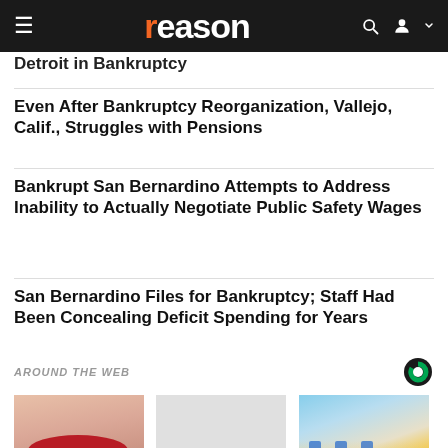reason
Detroit in Bankruptcy
Even After Bankruptcy Reorganization, Vallejo, Calif., Struggles with Pensions
Bankrupt San Bernardino Attempts to Address Inability to Actually Negotiate Public Safety Wages
San Bernardino Files for Bankruptcy; Staff Had Been Concealing Deficit Spending for Years
AROUND THE WEB
Doctors Stunned: This
Do You Know What Plaque
This is How Much Ashburn